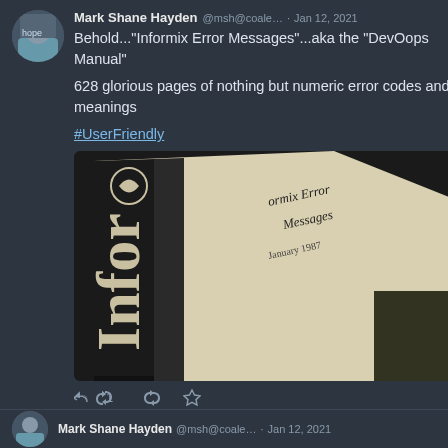Mark Shane Hayden @msh@coale... · Jan 12, 2021
Behold..."Informix Error Messages"...aka the "DevOops Manual"
628 glorious pages of nothing but numeric error codes and their meanings
#UserFriendly
[Figure (photo): Photo of a book titled 'Informix Error Messages' dated January 1987, showing the book's cover with 'Infor' text on the spine and the title visible on the front]
1 [retweet icon] [star icon]
Mark Shane Hayden @msh@coale... · Jan 12, 2021